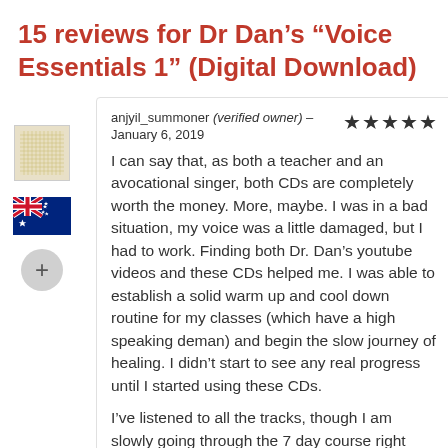15 reviews for Dr Dan’s “Voice Essentials 1” (Digital Download)
anjyil_summoner (verified owner) – January 6, 2019
I can say that, as both a teacher and an avocational singer, both CDs are completely worth the money. More, maybe. I was in a bad situation, my voice was a little damaged, but I had to work. Finding both Dr. Dan’s youtube videos and these CDs helped me. I was able to establish a solid warm up and cool down routine for my classes (which have a high speaking deman) and begin the slow journey of healing. I didn’t start to see any real progress until I started using these CDs.
I’ve listened to all the tracks, though I am slowly going through the 7 day course right now—and they resonant with everything I learned around